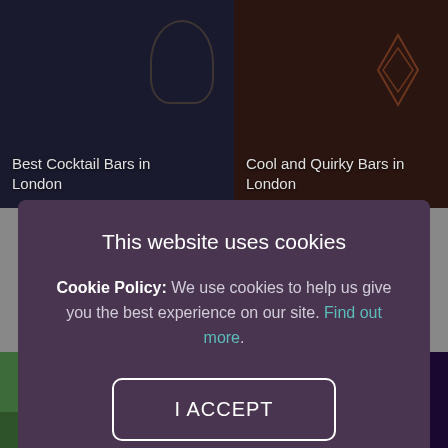[Figure (photo): Best Cocktail Bars in London - dark background with cocktail glass]
[Figure (photo): Cool and Quirky Bars in London - dark background with diamond decorations]
This website uses cookies
Cookie Policy: We use cookies to help us give you the best experience on our site. Find out more.
I ACCEPT
I DO NOT ACCEPT
[Figure (photo): Bottom left - outdoor bar/patio scene with people]
[Figure (photo): Bottom right - performer/musician with colorful lighting]